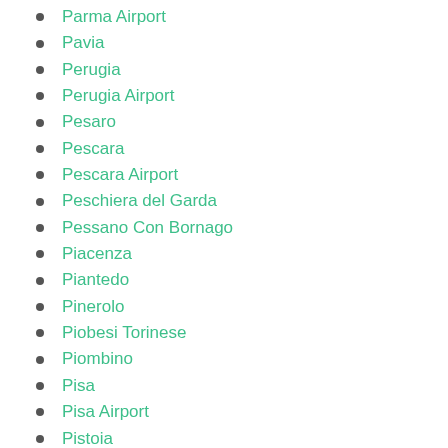Parma Airport
Pavia
Perugia
Perugia Airport
Pesaro
Pescara
Pescara Airport
Peschiera del Garda
Pessano Con Bornago
Piacenza
Piantedo
Pinerolo
Piobesi Torinese
Piombino
Pisa
Pisa Airport
Pistoia